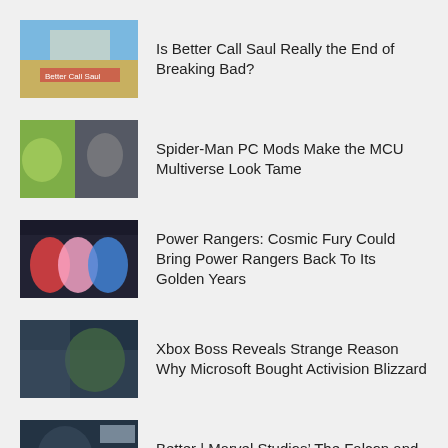Is Better Call Saul Really the End of Breaking Bad?
Spider-Man PC Mods Make the MCU Multiverse Look Tame
Power Rangers: Cosmic Fury Could Bring Power Rangers Back To Its Golden Years
Xbox Boss Reveals Strange Reason Why Microsoft Bought Activision Blizzard
Better | Marvel Studios’ The Falcon and The Winter Soldier | Disney+